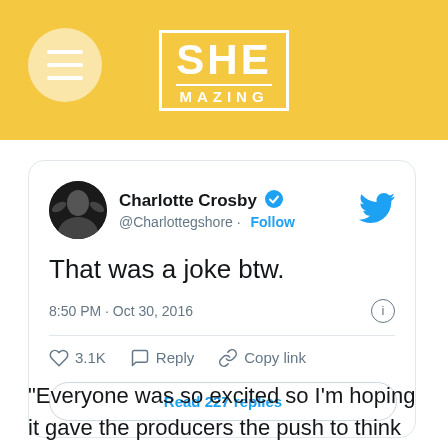[Figure (logo): SHEmazing logo with hamburger menu icon on yellow/gold background header]
[Figure (screenshot): Twitter/X embedded tweet from Charlotte Crosby (@Charlottegshore) with verified badge. Tweet text: 'That was a joke btw.' Posted at 8:50 PM · Oct 30, 2016. 3.1K likes. Reply and Copy link actions. Read 227 replies button.]
“Everyone was so excited so I’m hoping it gave the producers the push to think they should let me on the show,” the former Geordie Shore star told